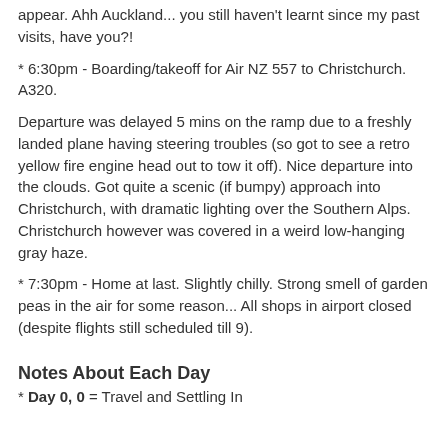appear.  Ahh Auckland... you still haven't learnt since my past visits, have you?!
* 6:30pm - Boarding/takeoff for Air NZ 557 to Christchurch. A320.
Departure was delayed 5 mins on the ramp due to a freshly landed plane having steering troubles (so got to see a retro yellow fire engine head out to tow it off). Nice departure into the clouds. Got quite a scenic (if bumpy) approach into Christchurch, with dramatic lighting over the Southern Alps. Christchurch however was covered in a weird low-hanging gray haze.
* 7:30pm - Home at last. Slightly chilly. Strong smell of garden peas in the air for some reason...  All shops in airport closed (despite flights still scheduled till 9).
Notes About Each Day
* Day 0, 0 = Travel and Settling In